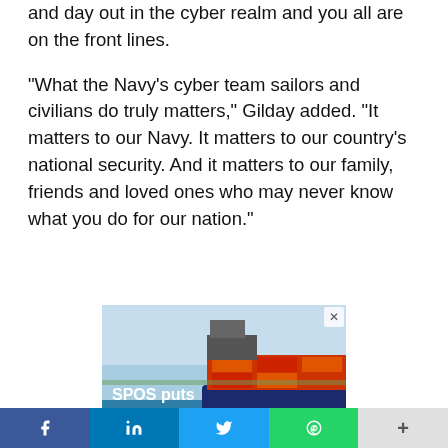and day out in the cyber realm and you all are on the front lines.
"What the Navy's cyber team sailors and civilians do truly matters," Gilday added. “It matters to our Navy.  It matters to our country's national security.  And it matters to our family, friends and loved ones who may never know what you do for our nation."
[Figure (photo): Advertisement for SPOS (DTN) featuring a container ship on water. Text reads 'SPOS puts the power in your hands with real-time, onboard route optimization' with a 'Learn more' button and DTN logo.]
Social sharing bar with Facebook, LinkedIn, Twitter, WhatsApp, and more buttons